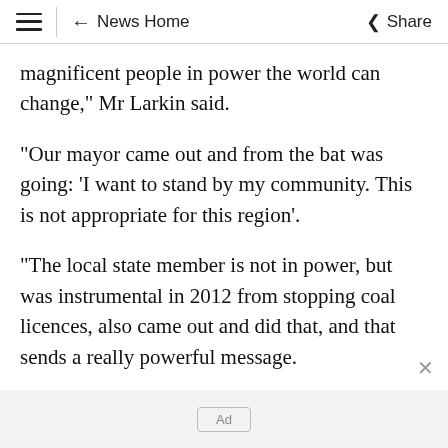≡ | ← News Home   Share
magnificent people in power the world can change," Mr Larkin said.
"Our mayor came out and from the bat was going: 'I want to stand by my community. This is not appropriate for this region'.
"The local state member is not in power, but was instrumental in 2012 from stopping coal licences, also came out and did that, and that sends a really powerful message.
Ad